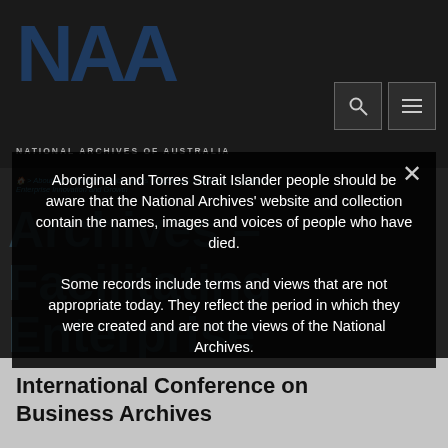[Figure (screenshot): National Archives of Australia website screenshot showing a modal warning overlay about Aboriginal and Torres Strait Islander content, over a dark-themed webpage with NAA logo and navigation.]
Aboriginal and Torres Strait Islander people should be aware that the National Archives' website and collection contain the names, images and voices of people who have died. Some records include terms and views that are not appropriate today. They reflect the period in which they were created and are not the views of the National Archives.
International Conference on Business Archives